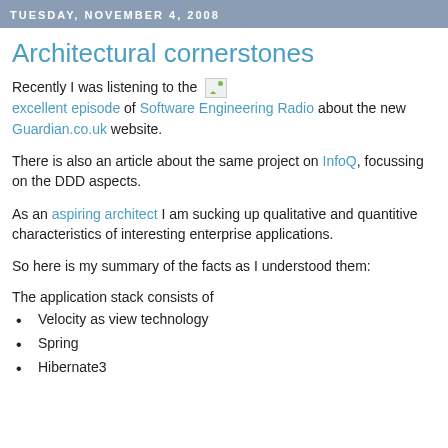TUESDAY, NOVEMBER 4, 2008
Architectural cornerstones
Recently I was listening to the excellent episode of Software Engineering Radio about the new Guardian.co.uk website.
There is also an article about the same project on InfoQ, focussing on the DDD aspects.
As an aspiring architect I am sucking up qualitative and quantitive characteristics of interesting enterprise applications.
So here is my summary of the facts as I understood them:
The application stack consists of
Velocity as view technology
Spring
Hibernate3